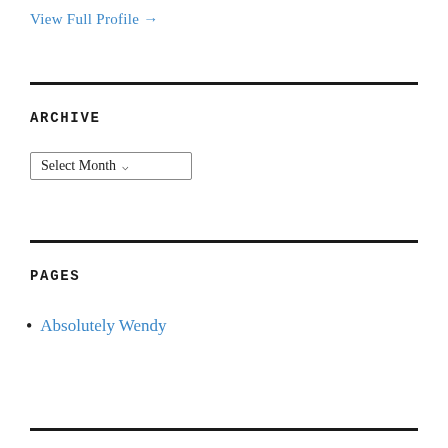View Full Profile →
ARCHIVE
Select Month
PAGES
Absolutely Wendy